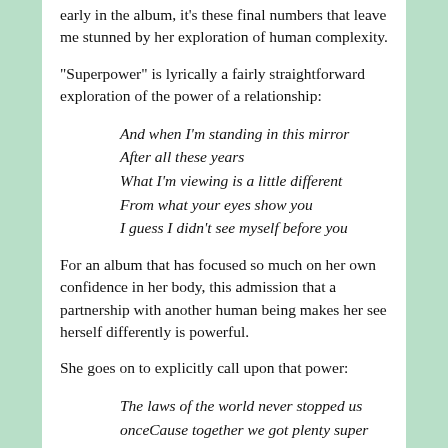early in the album, it's these final numbers that leave me stunned by her exploration of human complexity.
"Superpower" is lyrically a fairly straightforward exploration of the power of a relationship:
And when I'm standing in this mirror
After all these years
What I'm viewing is a little different
From what your eyes show you
I guess I didn't see myself before you
For an album that has focused so much on her own confidence in her body, this admission that a partnership with another human being makes her see herself differently is powerful.
She goes on to explicitly call upon that power:
The laws of the world never stopped us onceCause together we got plenty super power